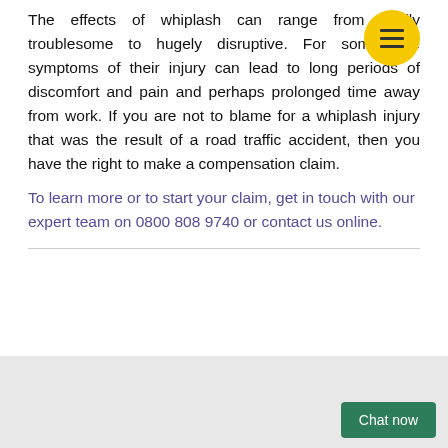The effects of whiplash can range from mildly troublesome to hugely disruptive. For some, the symptoms of their injury can lead to long periods of discomfort and pain and perhaps prolonged time away from work. If you are not to blame for a whiplash injury that was the result of a road traffic accident, then you have the right to make a compensation claim.
To learn more or to start your claim, get in touch with our expert team on 0800 808 9740 or contact us online.
[Figure (other): Yellow circular menu button with three horizontal lines (hamburger icon)]